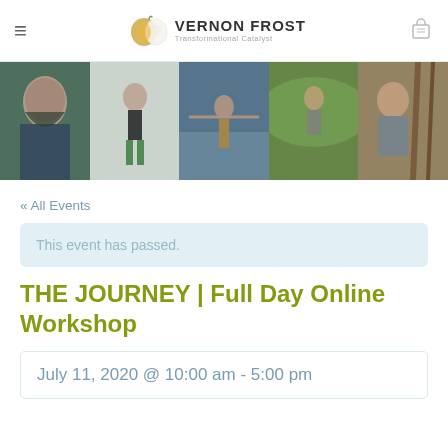VERNON FROST Transformational Catalyst
[Figure (photo): Horizontal strip of five photos showing various people in outdoor settings: smiling woman with dark hair, person standing in green shorts, woman with arms outstretched at waterfront, person sitting in green hills, and man smiling near wooden structure.]
« All Events
This event has passed.
THE JOURNEY | Full Day Online Workshop
July 11, 2020 @ 10:00 am - 5:00 pm